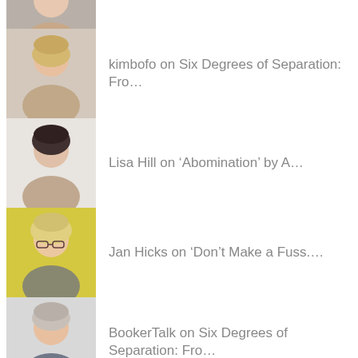(partial avatar, top cropped)
kimbofo on Six Degrees of Separation: Fro…
Lisa Hill on ‘Abomination’ by A…
Jan Hicks on ‘Don’t Make a Fuss.…
BookerTalk on Six Degrees of Separation: Fro…
whisperinggums on ‘Don’t Make a Fuss…
kimbofo on ‘Don’t Make a Fuss…
whisperinggums on ‘Don’t Make a Fuss…
Margaret 21 on ‘Don’t Make a Fuss…